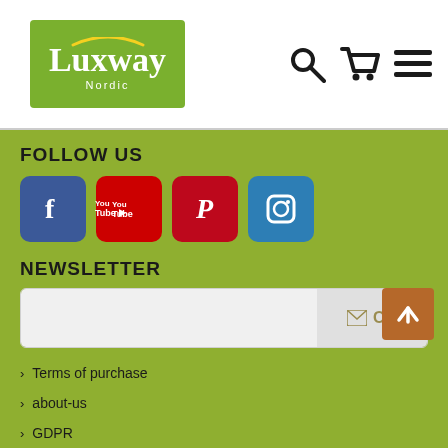[Figure (logo): Luxway Nordic logo on green background]
[Figure (infographic): Navigation icons: search, cart, hamburger menu]
FOLLOW US
[Figure (infographic): Social media icons: Facebook, YouTube, Pinterest, Instagram]
NEWSLETTER
[Figure (infographic): Newsletter email input with OK button]
Du kan avbryta prenumerationen när som helst. För detta vänligen kontakta vår kundtjänst så hjälper de dig.
Terms of purchase
about-us
GDPR